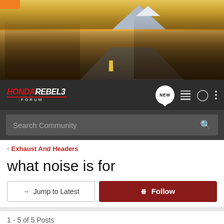[Figure (photo): Banner image showing motorcycles on a desert highway with mountains in background]
Honda Rebel 3 Forum - navigation bar with NEW button, list icon, user icon, and menu icon
Search Community
< Exhaust And Headers
what noise is for
→ Jump to Latest
+ Follow
1 - 5 of 5 Posts
macjosh1 · Registered
Joined May 19, 2017 · 178 Posts